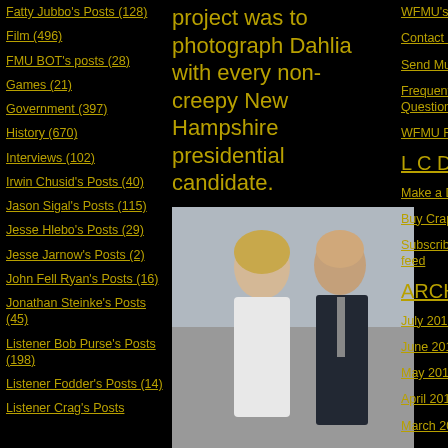Fatty Jubbo's Posts (128)
Film (496)
FMU BOT's posts (28)
Games (21)
Government (397)
History (670)
Interviews (102)
Irwin Chusid's Posts (40)
Jason Sigal's Posts (115)
Jesse Hlebo's Posts (29)
Jesse Jarnow's Posts (2)
John Fell Ryan's Posts (16)
Jonathan Steinke's Posts (45)
Listener Bob Purse's Posts (198)
Listener Fodder's Posts (14)
Listener Crag's Posts
project was to photograph Dahlia with every non-creepy New Hampshire presidential candidate.
[Figure (photo): Photo of a young blonde woman in a white dress standing next to an older bald man in a suit]
Garnick said he didn't photograph the baby with Fred Thompson, because Fred Thompson wasn't in New Hampshire very much. So maybe he should
WFMU's Accuplaylists
Contact Us
Send Music to WFMU
Frequently Asked Questions
WFMU Record Fairs
L C D
Make a Donation
Buy Crap from our Store!
Subscribe to this blog's feed
ARCHIVES
July 2015
June 2015
May 2015
April 2015
March 2015